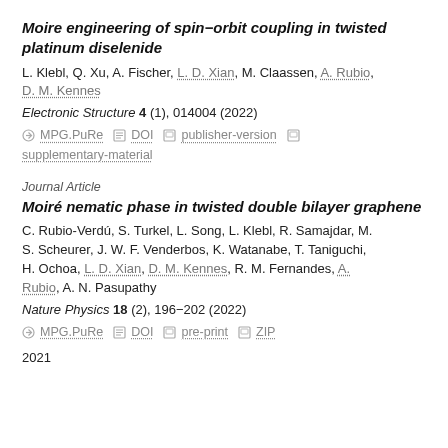Moire engineering of spin−orbit coupling in twisted platinum diselenide
L. Klebl, Q. Xu, A. Fischer, L. D. Xian, M. Claassen, A. Rubio, D. M. Kennes
Electronic Structure 4 (1), 014004 (2022)
MPG.PuRe  DOI  publisher-version  supplementary-material
Journal Article
Moiré nematic phase in twisted double bilayer graphene
C. Rubio-Verdú, S. Turkel, L. Song, L. Klebl, R. Samajdar, M. S. Scheurer, J. W. F. Venderbos, K. Watanabe, T. Taniguchi, H. Ochoa, L. D. Xian, D. M. Kennes, R. M. Fernandes, A. Rubio, A. N. Pasupathy
Nature Physics 18 (2), 196−202 (2022)
MPG.PuRe  DOI  pre-print  ZIP
2021